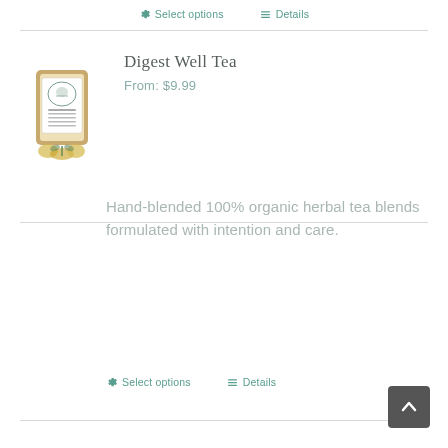Select options   Details
[Figure (photo): Product image of a kraft paper bag of Digest Well Tea with a label showing botanical illustration and flowers/herbs at the base]
Digest Well Tea
From: $9.99
Hand-blended 100% organic herbal tea blends formulated with intention and care.
Select options   Details